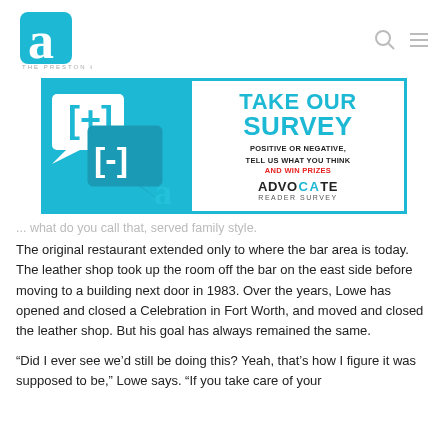THE PRESTON HOLLOW LIFESTYLE
[Figure (screenshot): Advocate Reader Survey advertisement banner — 'TAKE OUR SURVEY. POSITIVE OR NEGATIVE, TELL US WHAT YOU THINK AND WIN PRIZES. ADVOCATE READER SURVEY']
... what do you call that, served family style.
The original restaurant extended only to where the bar area is today. The leather shop took up the room off the bar on the east side before moving to a building next door in 1983. Over the years, Lowe has opened and closed a Celebration in Fort Worth, and moved and closed the leather shop. But his goal has always remained the same.
“Did I ever see we’d still be doing this? Yeah, that’s how I figure it was supposed to be,” Lowe says. “If you take care of your